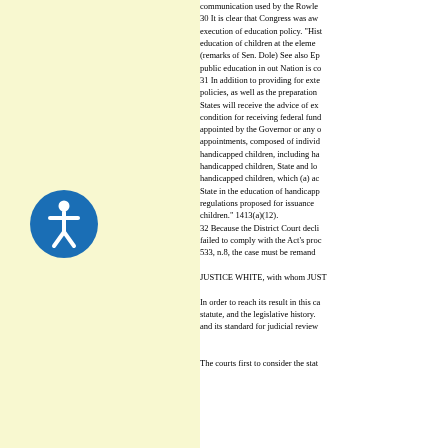[Figure (illustration): Accessibility icon - blue circle with white person symbol (wheelchair accessible icon)]
communication used by the Rowle... 30 It is clear that Congress was aw... execution of education policy. "Hist... education of children at the eleme... (remarks of Sen. Dole) See also Ep... public education in out Nation is co... 31 In addition to providing for exte... policies, as well as the preparation... States will receive the advice of ex... condition for receiving federal fund... appointed by the Governor or any ... appointments, composed of individ... handicapped children, including ha... handicapped children, State and lo... handicapped children, which (a) ac... State in the education of handicapp... regulations proposed for issuance ... children." 1413(a)(12). 32 Because the District Court decli... failed to comply with the Act's proc... 533, n.8, the case must be remand... JUSTICE WHITE, with whom JUST... In order to reach its result in this ca... statute, and the legislative history.... and its standard for judicial review...